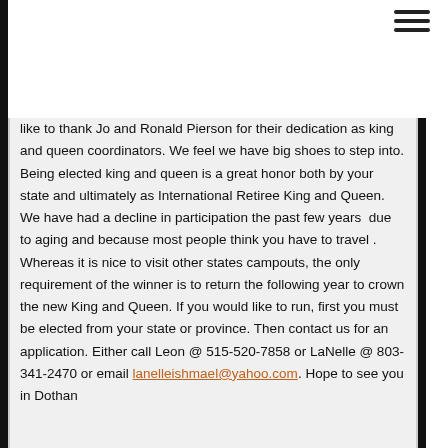like to thank Jo and Ronald Pierson for their dedication as king and queen coordinators. We feel we have big shoes to step into. Being elected king and queen is a great honor both by your state and ultimately as International Retiree King and Queen. We have had a decline in participation the past few years  due to aging and because most people think you have to travel . Whereas it is nice to visit other states campouts, the only requirement of the winner is to return the following year to crown the new King and Queen. If you would like to run, first you must be elected from your state or province. Then contact us for an application. Either call Leon @ 515-520-7858 or LaNelle @ 803-341-2470 or email lanelleishmael@yahoo.com. Hope to see you in Dothan